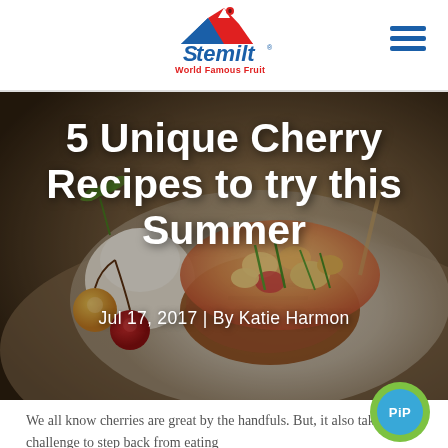Stemilt World Famous Fruit
[Figure (photo): Food photograph showing a white plate with grilled chicken topped with a colorful cherry and vegetable salsa, accompanied by yellow/red cherries and fresh herbs. Used as hero image background.]
5 Unique Cherry Recipes to try this Summer
Jul 17, 2017 | By Katie Harmon
We all know cherries are great by the handfuls. But, it also takes some challenge to step back from eating